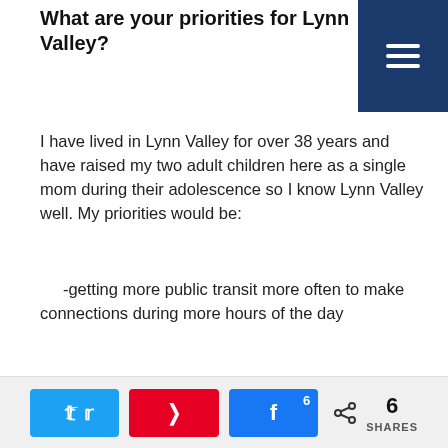What are your priorities for Lynn Valley?
I have lived in Lynn Valley for over 38 years and have raised my two adult children here as a single mom during their adolescence so I know Lynn Valley well. My priorities would be:
-getting more public transit more often to make connections during more hours of the day
-lobby for a B-Line bus from Lynn Valley to the Quay
-slow down development and concentrate any density in the town center